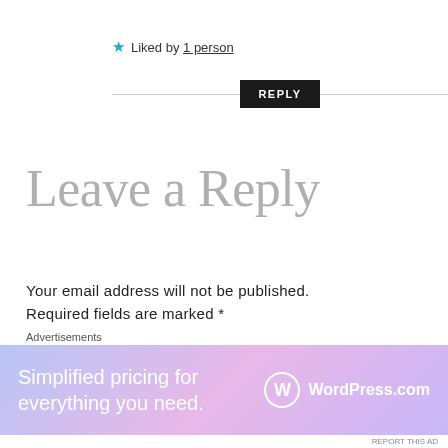★ Liked by 1 person
REPLY
Leave a Reply
Your email address will not be published. Required fields are marked *
COMMENT *
[Figure (screenshot): WordPress.com advertisement banner: 'Simplified pricing for everything you need.' with WordPress.com logo]
Advertisements